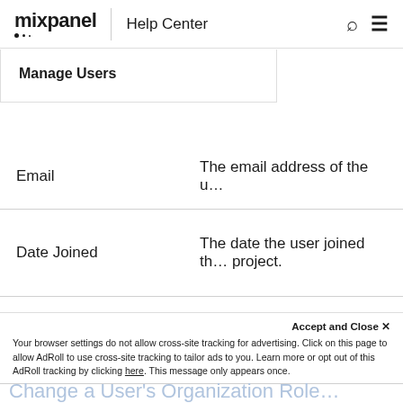mixpanel | Help Center
Manage Users
| Email | The email address of the u… |
| Date Joined | The date the user joined th… project. |
| Last active | The date of the last record… the user. |
Accept and Close ×
Your browser settings do not allow cross-site tracking for advertising. Click on this page to allow AdRoll to use cross-site tracking to tailor ads to you. Learn more or opt out of this AdRoll tracking by clicking here. This message only appears once.
Change a User's Organization Role…